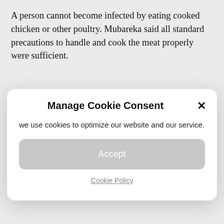A person cannot become infected by eating cooked chicken or other poultry. Mubareka said all standard precautions to handle and cook the meat properly were sufficient.
[Figure (screenshot): Cookie consent modal dialog with title 'Manage Cookie Consent', close button (×), text 'we use cookies to optimize our website and our service.', an Accept button, and a Cookie Policy link.]
“I think that could really stress limited resources,” Mubareka said. “But in terms of preparation, we are better in some ways.”